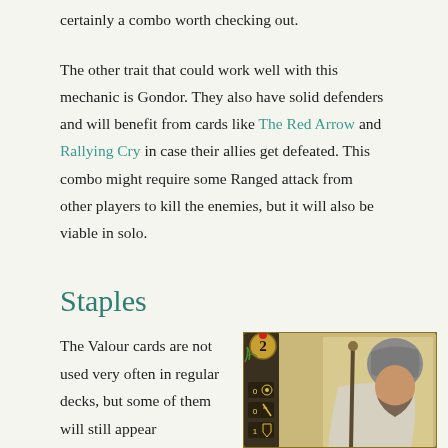certainly a combo worth checking out.
The other trait that could work well with this mechanic is Gondor. They also have solid defenders and will benefit from cards like The Red Arrow and Rallying Cry in case their allies get defeated. This combo might require some Ranged attack from other players to kill the enemies, but it will also be viable in solo.
Staples
The Valour cards are not used very often in regular decks, but some of them will still appear
[Figure (photo): A fantasy card game card showing a bearded warrior in armor holding a staff, with shield and sword icons, cost value of 2, attack 0, willpower 0, defense 1.]